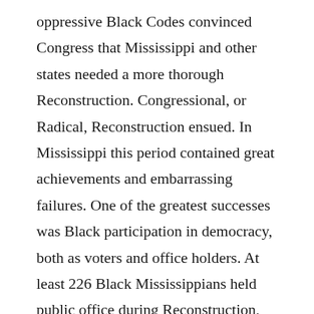oppressive Black Codes convinced Congress that Mississippi and other states needed a more thorough Reconstruction. Congressional, or Radical, Reconstruction ensued. In Mississippi this period contained great achievements and embarrassing failures. One of the greatest successes was Black participation in democracy, both as voters and office holders. At least 226 Black Mississippians held public office during Reconstruction, compared to only 46 Black people in Arkansas and 20 in Tennessee. Mississippi sent the first two (and only) Black senators of this period to Congress. The first senator, Hiram R. Revels (1827-1901), was a free Black person from North Carolina who served as a chaplain to Black troops during the Civil War. Revels moved to Natchez in 1866 and founded schools for freedmen throughout the